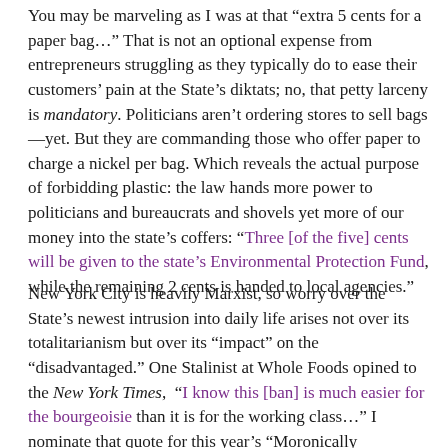You may be marveling as I was at that “extra 5 cents for a paper bag…” That is not an optional expense from entrepreneurs struggling as they typically do to ease their customers’ pain at the State’s diktats; no, that petty larceny is mandatory. Politicians aren’t ordering stores to sell bags—yet. But they are commanding those who offer paper to charge a nickel per bag. Which reveals the actual purpose of forbidding plastic: the law hands more power to politicians and bureaucrats and shovels yet more of our money into the state’s coffers: “Three [of the five] cents will be given to the state’s Environmental Protection Fund, while the remaining 2 cents is handed to local agencies.”
New York City is heavily Marxist, so worry over the State’s newest intrusion into daily life arises not over its totalitarianism but over its “impact” on the “disadvantaged.” One Stalinist at Whole Foods opined to the New York Times, “I know this [ban] is much easier for the bourgeoisie than it is for the working class…” I nominate that quote for this year’s “Moronically Regurgitating the Communist Manifesto” Award. Predictably, Our Rulers exempt welfare-queens from their ban: “If you pay using SNAP or WIC, you will not be charged any paper bag fees. Stores must provide